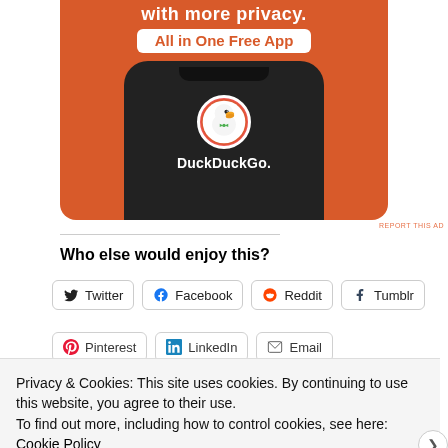[Figure (screenshot): DuckDuckGo advertisement banner on orange background showing 'with more privacy.' and 'All in One Free App' text with a phone displaying the DuckDuckGo app logo and name]
REPORT THIS AD
Who else would enjoy this?
Twitter  Facebook  Reddit  Tumblr
Pinterest  LinkedIn  Email
Privacy & Cookies: This site uses cookies. By continuing to use this website, you agree to their use.
To find out more, including how to control cookies, see here: Cookie Policy
Close and accept